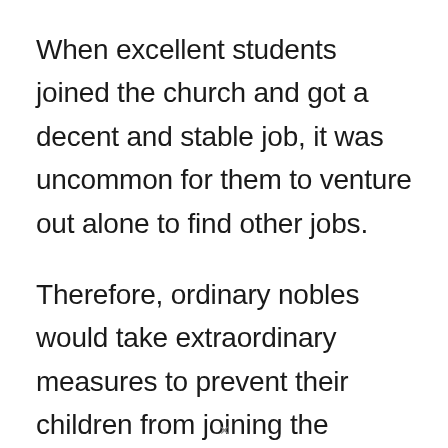When excellent students joined the church and got a decent and stable job, it was uncommon for them to venture out alone to find other jobs.
Therefore, ordinary nobles would take extraordinary measures to prevent their children from joining the church when their children become adults. The nobles would forbid their children to enter the church school for the reason “the children can’t get to know friends who match their status.” The